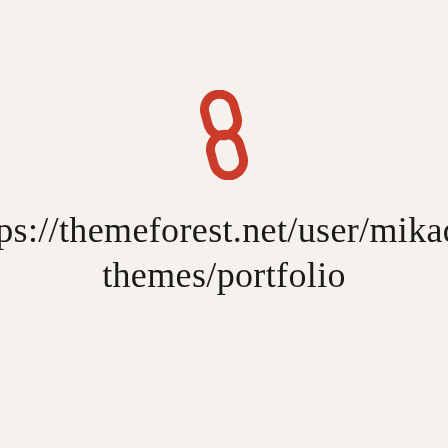[Figure (logo): Red/orange stylized S-shaped link or paperclip logo mark]
https://themeforest.net/user/mikado-themes/portfolio